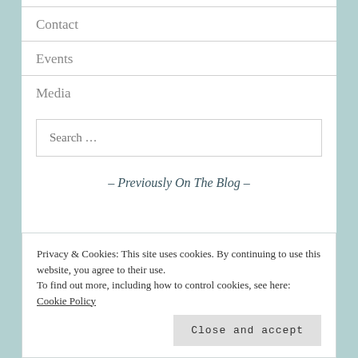Contact
Events
Media
Search …
– Previously On The Blog –
Privacy & Cookies: This site uses cookies. By continuing to use this website, you agree to their use.
To find out more, including how to control cookies, see here: Cookie Policy
Close and accept